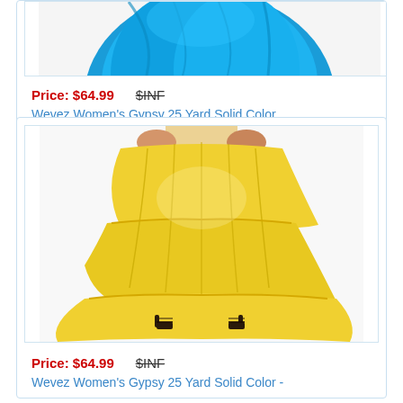[Figure (photo): Partial view of a teal/blue gypsy skirt product photo, cropped at the top]
Price: $64.99  $INF
Wevez Women's Gypsy 25 Yard Solid Color
[Figure (photo): Yellow tiered gypsy skirt worn by a model, showing flowing layers with dark strappy heels]
Price: $64.99  $INF
Wevez Women's Gypsy 25 Yard Solid Color -